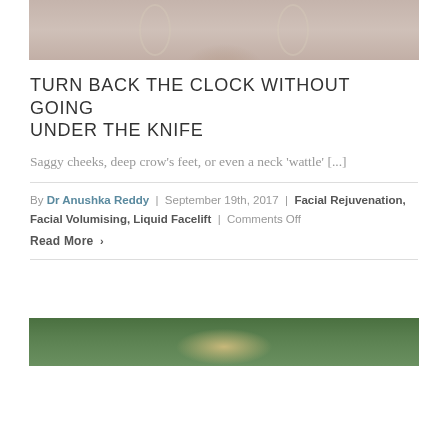[Figure (photo): Cropped photo of a woman's neck and lower face wearing large hoop earrings against a light grey background]
TURN BACK THE CLOCK WITHOUT GOING UNDER THE KNIFE
Saggy cheeks, deep crow's feet, or even a neck 'wattle' [...]
By Dr Anushka Reddy | September 19th, 2017 | Facial Rejuvenation, Facial Volumising, Liquid Facelift | Comments Off
Read More
[Figure (photo): Cropped photo showing the top of a person's head with blonde/light brown hair against a green leafy background]